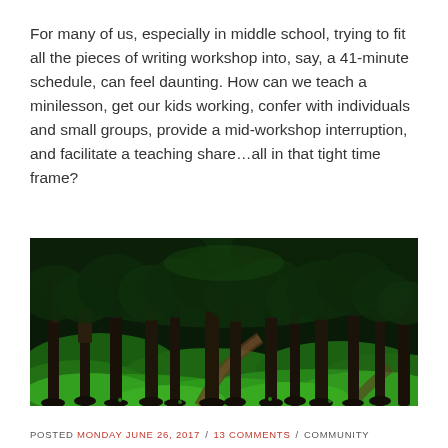For many of us, especially in middle school, trying to fit all the pieces of writing workshop into, say, a 41-minute schedule, can feel daunting. How can we teach a minilesson, get our kids working, confer with individuals and small groups, provide a mid-workshop interruption, and facilitate a teaching share…all in that tight time frame?
[Figure (photo): A lush green forest scene with tall dark tree trunks, rolling green grass mounds, and winding dirt paths. The foliage is dense and deeply saturated green.]
POSTED MONDAY JUNE 26, 2017 / 13 COMMENTS / COMMUNITY